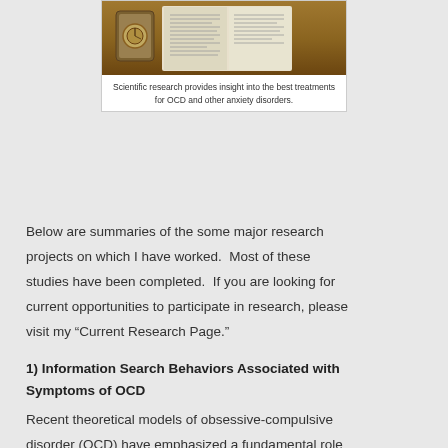[Figure (photo): Photo of books and what appears to be an old compass or magnifying glass on a wooden table]
Scientific research provides insight into the best treatments for OCD and other anxiety disorders.
Below are summaries of the some major research projects on which I have worked.  Most of these studies have been completed.  If you are looking for current opportunities to participate in research, please visit my “Current Research Page.”
1) Information Search Behaviors Associated with Symptoms of OCD
Recent theoretical models of obsessive-compulsive disorder (OCD) have emphasized a fundamental role for